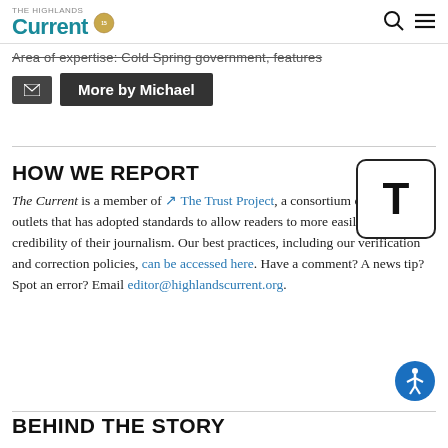The Highlands Current
Area of expertise: Cold Spring government, features
✉  More by Michael
HOW WE REPORT
The Current is a member of The Trust Project, a consortium of news outlets that has adopted standards to allow readers to more easily assess the credibility of their journalism. Our best practices, including our verification and correction policies, can be accessed here. Have a comment? A news tip? Spot an error? Email editor@highlandscurrent.org.
BEHIND THE STORY